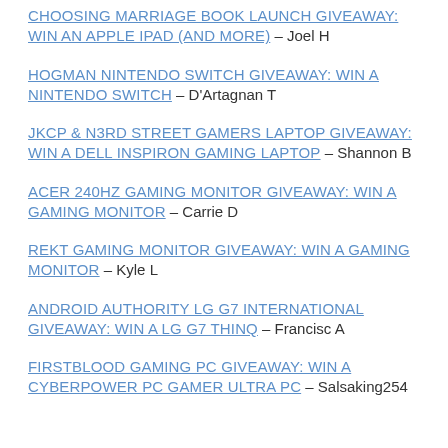CHOOSING MARRIAGE BOOK LAUNCH GIVEAWAY: WIN AN APPLE IPAD (AND MORE) – Joel H
HOGMAN NINTENDO SWITCH GIVEAWAY: WIN A NINTENDO SWITCH – D'Artagnan T
JKCP & N3RD STREET GAMERS LAPTOP GIVEAWAY: WIN A DELL INSPIRON GAMING LAPTOP – Shannon B
ACER 240HZ GAMING MONITOR GIVEAWAY: WIN A GAMING MONITOR – Carrie D
REKT GAMING MONITOR GIVEAWAY: WIN A GAMING MONITOR – Kyle L
ANDROID AUTHORITY LG G7 INTERNATIONAL GIVEAWAY: WIN A LG G7 THINQ – Francisc A
FIRSTBLOOD GAMING PC GIVEAWAY: WIN A CYBERPOWER PC GAMER ULTRA PC – Salsaking254